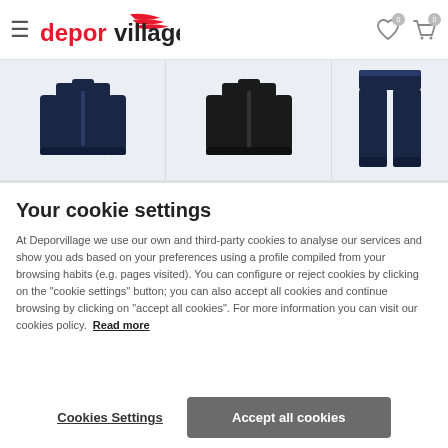deporvillage header navigation with hamburger menu, wishlist and cart icons
[Figure (photo): Three sportswear jackets/tracksuit items displayed in a horizontal strip: navy blue jacket on left, black jacket in center, navy blue tracksuit pants on right]
Your cookie settings
At Deporvillage we use our own and third-party cookies to analyse our services and show you ads based on your preferences using a profile compiled from your browsing habits (e.g. pages visited). You can configure or reject cookies by clicking on the "cookie settings" button; you can also accept all cookies and continue browsing by clicking on "accept all cookies". For more information you can visit our cookies policy. Read more
Cookies Settings
Accept all cookies